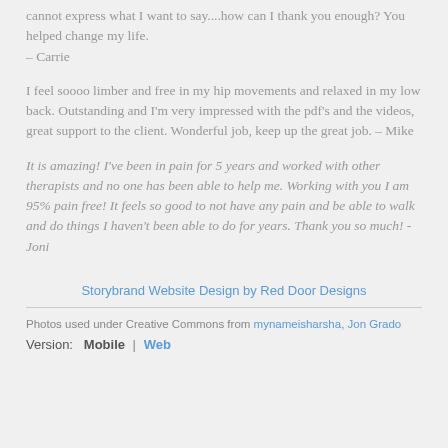cannot express what I want to say....how can I thank you enough? You helped change my life.
– Carrie
I feel soooo limber and free in my hip movements and relaxed in my low back. Outstanding and I'm very impressed with the pdf's and the videos, great support to the client. Wonderful job, keep up the great job. – Mike
It is amazing! I've been in pain for 5 years and worked with other therapists and no one has been able to help me. Working with you I am 95% pain free! It feels so good to not have any pain and be able to walk and do things I haven't been able to do for years. Thank you so much! - Joni
Storybrand Website Design by Red Door Designs
Photos used under Creative Commons from mynameisharsha, Jon Grado
Version: Mobile | Web